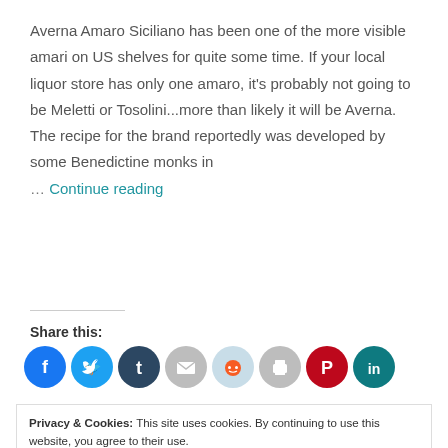Averna Amaro Siciliano has been one of the more visible amari on US shelves for quite some time. If your local liquor store has only one amaro, it's probably not going to be Meletti or Tosolini...more than likely it will be Averna. The recipe for the brand reportedly was developed by some Benedictine monks in … Continue reading
Share this:
[Figure (other): Social share icons: Facebook (blue), Twitter (light blue), Tumblr (dark blue), Email (gray), Reddit (light blue), Print (gray), Pinterest (red), LinkedIn (dark teal)]
Privacy & Cookies: This site uses cookies. By continuing to use this website, you agree to their use. To find out more, including how to control cookies, see here: Cookie Policy
Close and accept